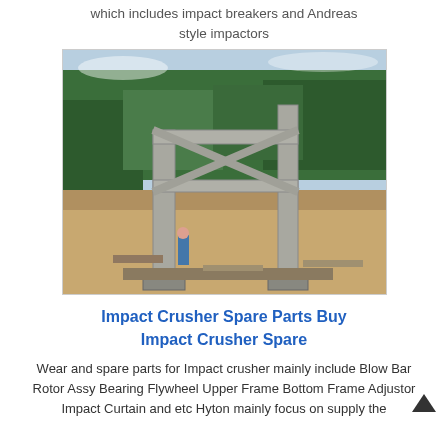which includes impact breakers and Andreas style impactors
[Figure (photo): Outdoor construction site photograph showing a large steel frame structure (possibly a crusher frame or industrial equipment frame) on a sandy/dirt ground with trees in the background and workers visible near the base.]
Impact Crusher Spare Parts Buy Impact Crusher Spare
Wear and spare parts for Impact crusher mainly include Blow Bar Rotor Assy Bearing Flywheel Upper Frame Bottom Frame Adjustor Impact Curtain and etc Hyton mainly focus on supply the